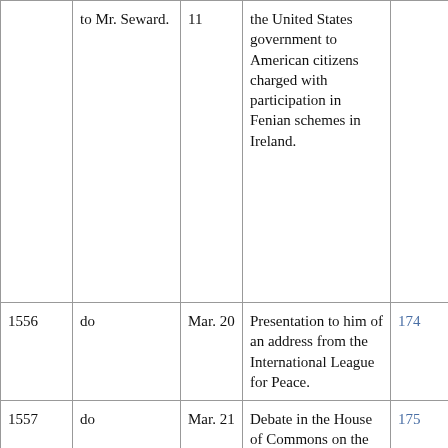|  | to Mr. Seward. | 11 | the United States government to American citizens charged with participation in Fenian schemes in Ireland. |  |
| 1556 | do | Mar. 20 | Presentation to him of an address from the International League for Peace. | 174 |
| 1557 | do | Mar. 21 | Debate in the House of Commons on the question of citizenship and naturalization. | 175 |
| 2144 | Mr. Seward to Mr. Adams. | Mar. 23 | Mode of settling the naturalization question and the San Juan boundary question When these are arranged the Alabama claims can be taken into consideration. | 183 |